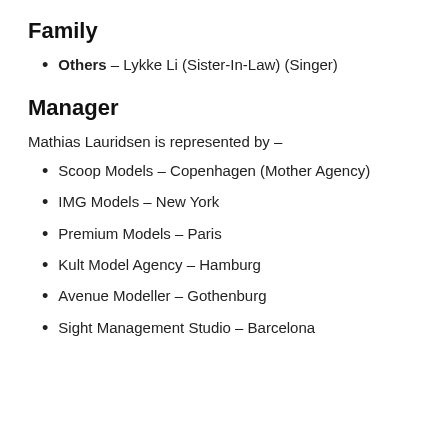Family
Others – Lykke Li (Sister-In-Law) (Singer)
Manager
Mathias Lauridsen is represented by –
Scoop Models – Copenhagen (Mother Agency)
IMG Models – New York
Premium Models – Paris
Kult Model Agency – Hamburg
Avenue Modeller – Gothenburg
Sight Management Studio – Barcelona